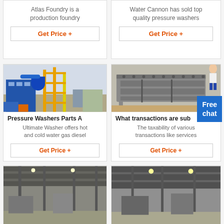Atlas Foundry is a production foundry
Get Price +
Water Cannon has sold top quality pressure washers
Get Price +
[Figure (photo): Industrial plant with yellow scaffolding structure, blue ducts, and processing equipment]
Pressure Washers Parts A
Ultimate Washer offers hot and cold water gas diesel
Get Price +
[Figure (photo): Metal vibrating sieve or screening machine, gray metallic industrial equipment, with Free chat badge overlay]
What transactions are sub
The taxability of various transactions like services
Get Price +
[Figure (photo): Interior of industrial building with metal structure ceiling]
[Figure (photo): Interior of industrial building with lighting]